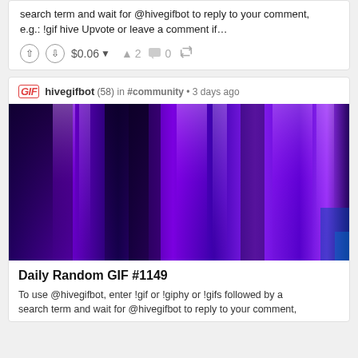search term and wait for @hivegifbot to reply to your comment, e.g.: !gif hive Upvote or leave a comment if…
$0.06  ▲ 2  💬 0  ↩
GIF hivegifbot (58) in #community • 3 days ago
[Figure (photo): Purple and blue abstract glowing light streaks background image]
Daily Random GIF #1149
To use @hivegifbot, enter !gif or !giphy or !gifs followed by a search term and wait for @hivegifbot to reply to your comment,